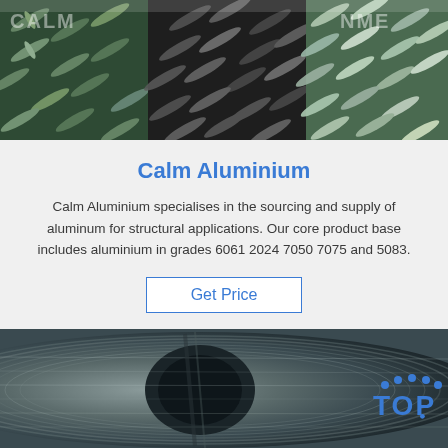[Figure (photo): Close-up photo of aluminum checker plate / tread plate surface with diamond pattern, showing metallic silver and dark colors with green overlay, appears to be industrial aluminum flooring or sheet metal.]
Calm Aluminium
Calm Aluminium specialises in the sourcing and supply of aluminum for structural applications. Our core product base includes aluminium in grades 6061 2024 7050 7075 and 5083.
Get Price
[Figure (photo): Close-up photo of a large coiled aluminum roll/coil, showing the edge and layers of the metallic aluminum sheet wound tightly, with a 'TOP' logo watermark in blue in the bottom right corner.]